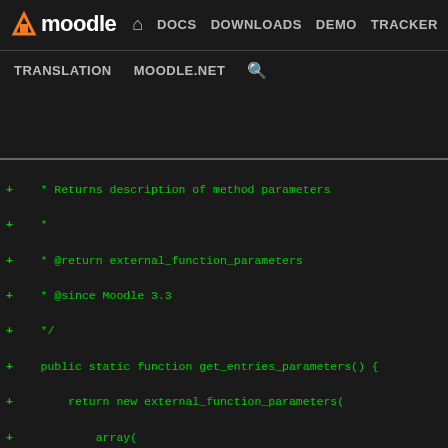moodle DOCS DOWNLOADS DEMO TRACKER DEV TRANSLATION MOODLE.NET
[Figure (screenshot): Moodle developer documentation website header with navigation links: DOCS, DOWNLOADS, DEMO, TRACKER, DEV (highlighted in blue), TRANSLATION, MOODLE.NET, and search icon]
+    * Returns description of method parameters
+    *
+    * @return external_function_parameters
+    * @since Moodle 3.3
+    */
+    public static function get_entries_parameters() {
+        return new external_function_parameters(
+            array(
+                'databaseid' => new external_value(PARAM_IN
+                'groupid' => new external_value(PARAM_INT,
+                                                VALUE_DE
+                'returncontents' => new external_value(PARA
+                                                raw
+                                                VAL
+                'sort' => new external_value(PARAM_INT, 'So
+                                    0: timeadde
+                                    -1: firstna
+                                    -2: lastnam
+                                    -3: approve
+                                    -4: timemod
+                                    Empty for u
+                'order' => new external_value(PARAM_ALPHA,
+                                    Empty for u
+                'page' => new external_value(PARAM_INT, 'Th
+                'perpage' => new external_value(PARAM_INT,
+            )